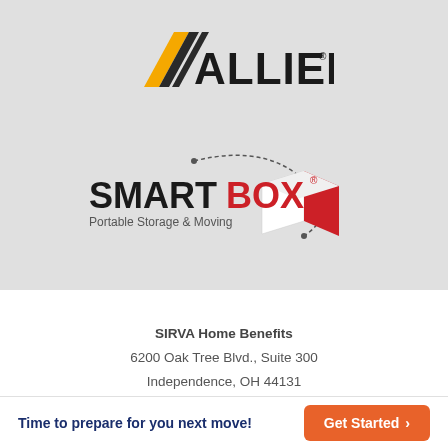[Figure (logo): Allied Van Lines logo with yellow and black diagonal stripes and bold ALLIED text]
[Figure (logo): SMARTBOX Portable Storage & Moving logo with a red and white box icon and dashed arc]
SIRVA Home Benefits
6200 Oak Tree Blvd., Suite 300
Independence, OH 44131
TEL - 800-570-2070
Time to prepare for you next move!
Get Started →